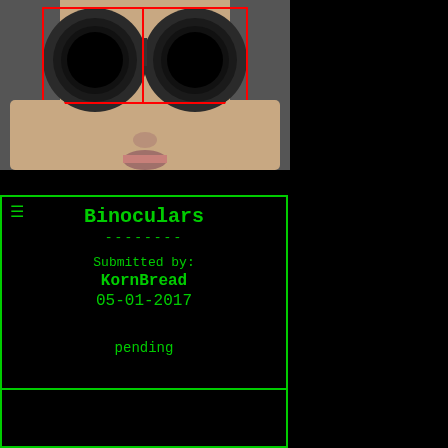[Figure (photo): Person holding binoculars up to their face viewed from front, with red rectangles highlighting the two lenses]
Binoculars
--------
Submitted by:
KornBread
05-01-2017

pending

1
Take a selfie through a toilet roll tube and pretend you're the moon